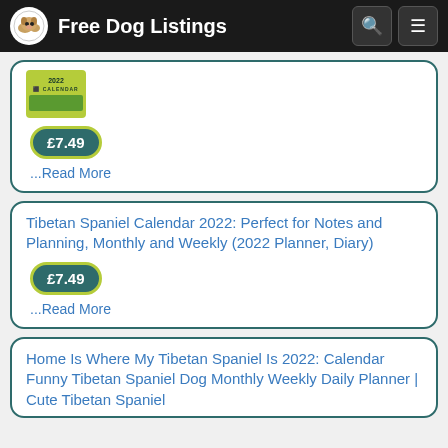Free Dog Listings
[Figure (screenshot): Partial view of a calendar product thumbnail with yellow/green cover showing '2022 CALENDAR' text]
£7.49
...Read More
Tibetan Spaniel Calendar 2022: Perfect for Notes and Planning, Monthly and Weekly (2022 Planner, Diary)
£7.49
...Read More
Home Is Where My Tibetan Spaniel Is 2022: Calendar Funny Tibetan Spaniel Dog Monthly Weekly Daily Planner | Cute Tibetan Spaniel